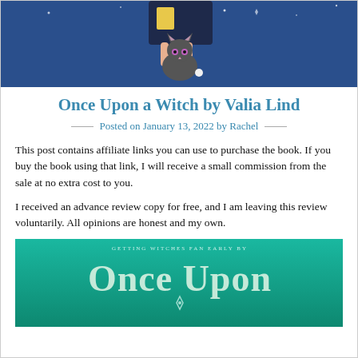[Figure (illustration): Book cover banner image showing a dark night scene with a cat and a figure, dark blue background]
Once Upon a Witch by Valia Lind
Posted on January 13, 2022 by Rachel
This post contains affiliate links you can use to purchase the book. If you buy the book using that link, I will receive a small commission from the sale at no extra cost to you.
I received an advance review copy for free, and I am leaving this review voluntarily. All opinions are honest and my own.
[Figure (photo): Book cover showing 'Once Upon a Witch' text in stylized teal font on a teal/green background with decorative typography]